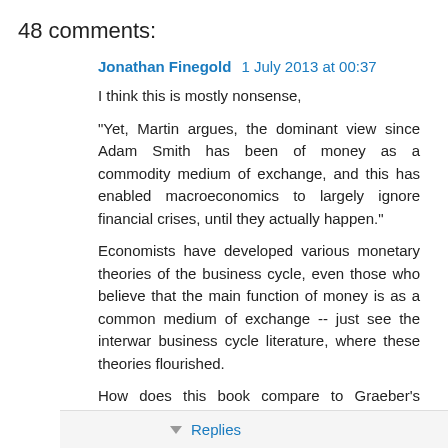48 comments:
Jonathan Finegold  1 July 2013 at 00:37
I think this is mostly nonsense,
"Yet, Martin argues, the dominant view since Adam Smith has been of money as a commodity medium of exchange, and this has enabled macroeconomics to largely ignore financial crises, until they actually happen."
Economists have developed various monetary theories of the business cycle, even those who believe that the main function of money is as a common medium of exchange -- just see the interwar business cycle literature, where these theories flourished.
How does this book compare to Graeber's Debt?
Reply
Replies